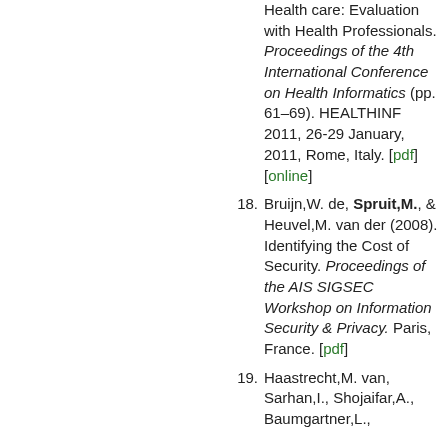(continuation) Health care: Evaluation with Health Professionals. Proceedings of the 4th International Conference on Health Informatics (pp. 61–69). HEALTHINF 2011, 26-29 January, 2011, Rome, Italy. [pdf] [online]
18. Bruijn,W. de, Spruit,M., & Heuvel,M. van der (2008). Identifying the Cost of Security. Proceedings of the AIS SIGSEC Workshop on Information Security & Privacy. Paris, France. [pdf]
19. Haastrecht,M. van, Sarhan,I., Shojaifar,A., Baumgartner,L.,